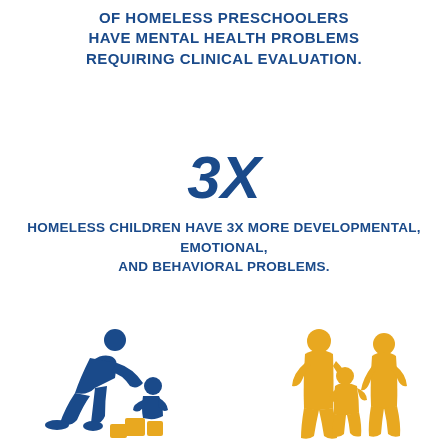OF HOMELESS PRESCHOOLERS HAVE MENTAL HEALTH PROBLEMS REQUIRING CLINICAL EVALUATION.
3X
HOMELESS CHILDREN HAVE 3X MORE DEVELOPMENTAL, EMOTIONAL, AND BEHAVIORAL PROBLEMS.
[Figure (illustration): Blue silhouette icon of an adult crouching down playing with a small child near building blocks]
[Figure (illustration): Gold/yellow silhouette icon of a family: two adults with a child between them holding hands]